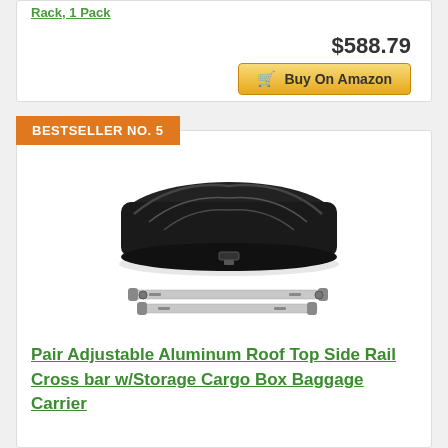Rack, 1 Pack
$588.79
🛒 Buy On Amazon
BESTSELLER NO. 5
[Figure (photo): Black roof top cargo box with a pair of aluminum crossbars below it]
Pair Adjustable Aluminum Roof Top Side Rail Cross bar w/Storage Cargo Box Baggage Carrier